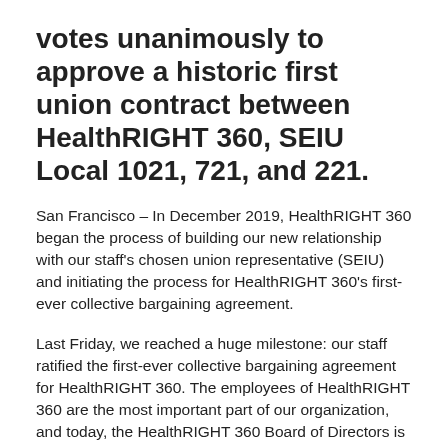votes unanimously to approve a historic first union contract between HealthRIGHT 360, SEIU Local 1021, 721, and 221.
San Francisco – In December 2019, HealthRIGHT 360 began the process of building our new relationship with our staff's chosen union representative (SEIU) and initiating the process for HealthRIGHT 360's first-ever collective bargaining agreement.
Last Friday, we reached a huge milestone: our staff ratified the first-ever collective bargaining agreement for HealthRIGHT 360. The employees of HealthRIGHT 360 are the most important part of our organization, and today, the HealthRIGHT 360 Board of Directors is pleased to honor and respect the wishes of our non-profit workers by signing the agreement between HealthRIGHT 360 and our union this